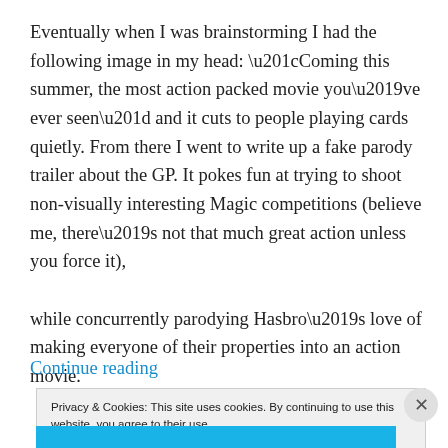Eventually when I was brainstorming I had the following image in my head: “Coming this summer, the most action packed movie you’ve ever seen” and it cuts to people playing cards quietly. From there I went to write up a fake parody trailer about the GP. It pokes fun at trying to shoot non-visually interesting Magic competitions (believe me, there’s not that much great action unless you force it), while concurrently parodying Hasbro’s love of making everyone of their properties into an action movie.
Continue reading
Privacy & Cookies: This site uses cookies. By continuing to use this website, you agree to their use.
To find out more, including how to control cookies, see here: Cookie Policy